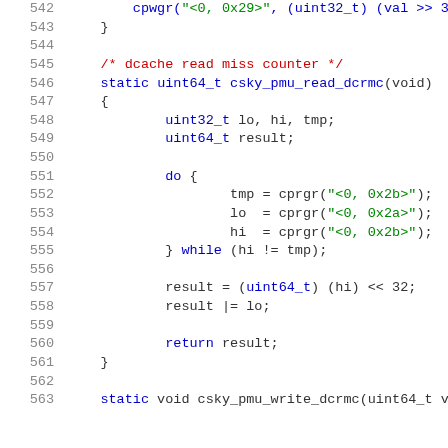[Figure (screenshot): Source code listing showing C function csky_pmu_read_dcrmc and related code, lines 542-563, with syntax highlighting: line numbers in gray, keywords in blue, strings in green, comments in red.]